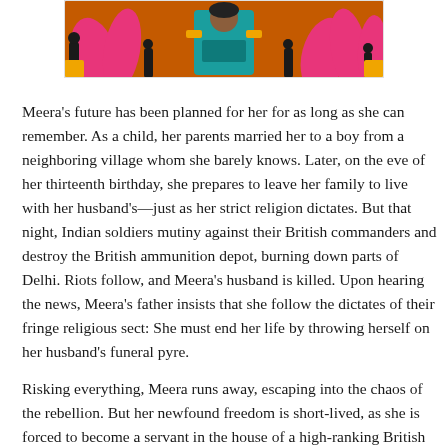[Figure (illustration): Colorful illustrated book cover art featuring a woman in a teal/orange outfit surrounded by pink flame-like shapes and dark silhouetted figures on an orange and black background.]
Meera's future has been planned for her for as long as she can remember. As a child, her parents married her to a boy from a neighboring village whom she barely knows. Later, on the eve of her thirteenth birthday, she prepares to leave her family to live with her husband's—just as her strict religion dictates. But that night, Indian soldiers mutiny against their British commanders and destroy the British ammunition depot, burning down parts of Delhi. Riots follow, and Meera's husband is killed. Upon hearing the news, Meera's father insists that she follow the dictates of their fringe religious sect: She must end her life by throwing herself on her husband's funeral pyre.
Risking everything, Meera runs away, escaping into the chaos of the rebellion. But her newfound freedom is short-lived, as she is forced to become a servant in the house of a high-ranking British East India Company captain. Slowly through her work, she gains